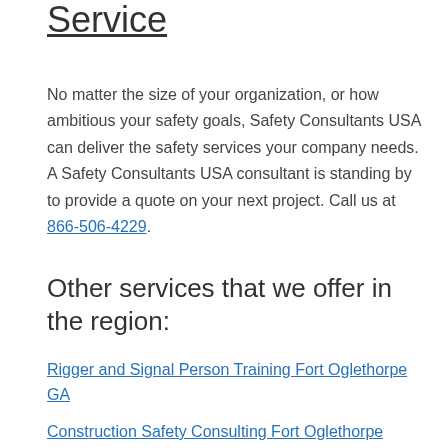Service
No matter the size of your organization, or how ambitious your safety goals, Safety Consultants USA can deliver the safety services your company needs. A Safety Consultants USA consultant is standing by to provide a quote on your next project. Call us at 866-506-4229.
Other services that we offer in the region:
Rigger and Signal Person Training Fort Oglethorpe GA
Construction Safety Consulting Fort Oglethorpe